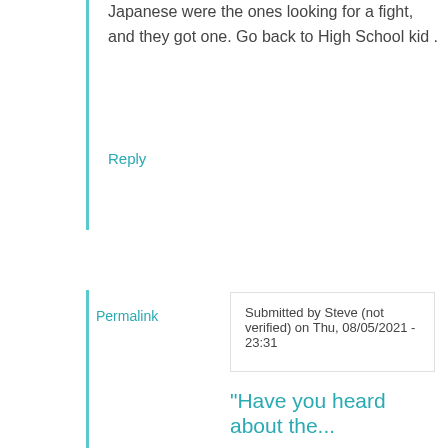Japanese were the ones looking for a fight, and they got one. Go back to High School kid .
Reply
Permalink
Submitted by Steve (not verified) on Thu, 08/05/2021 - 23:31
"Have you heard about the...
"Have you heard about the empires of Africa?" Such as they were, yes. The most impressive was the Nok civilization, who never developed a written language or a system of numbers. They did however create statues out of clay. Behold.
https://www.thoughtco.com/thmb/tHHpATL4G5AJOS6BWk=/2048x1536/f...